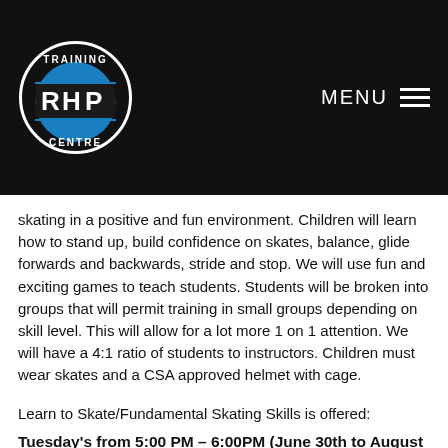[Figure (logo): RHP Training Centre circular logo with blue and white design on black background]
MENU ☰
skating in a positive and fun environment. Children will learn how to stand up, build confidence on skates, balance, glide forwards and backwards, stride and stop. We will use fun and exciting games to teach students. Students will be broken into groups that will permit training in small groups depending on skill level. This will allow for a lot more 1 on 1 attention. We will have a 4:1 ratio of students to instructors. Children must wear skates and a CSA approved helmet with cage.
Learn to Skate/Fundamental Skating Skills is offered:
Tuesday's from 5:00 PM – 6:00PM (June 30th to August 25th, 2020)